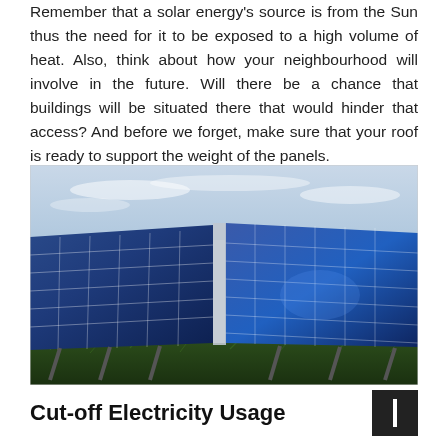Remember that a solar energy's source is from the Sun thus the need for it to be exposed to a high volume of heat. Also, think about how your neighbourhood will involve in the future. Will there be a chance that buildings will be situated there that would hinder that access? And before we forget, make sure that your roof is ready to support the weight of the panels.
[Figure (photo): Large solar panel array mounted on metal frames on a grassy area, photographed from a low angle showing blue photovoltaic cells filling most of the frame, with an overcast sky visible at the top.]
Cut-off Electricity Usage